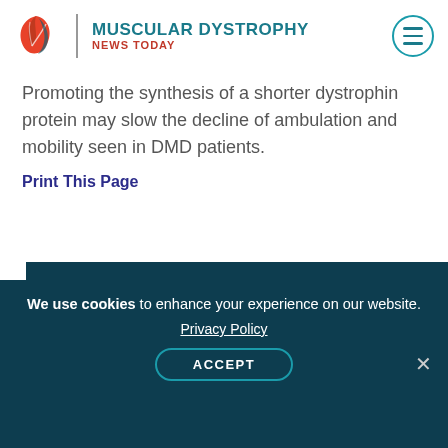MUSCULAR DYSTROPHY NEWS TODAY
Promoting the synthesis of a shorter dystrophin protein may slow the decline of ambulation and mobility seen in DMD patients.
Print This Page
About the Author
Margarida Azevedo, MSc Margarida graduated with a BS in Health Sciences from the University of
We use cookies to enhance your experience on our website. Privacy Policy ACCEPT